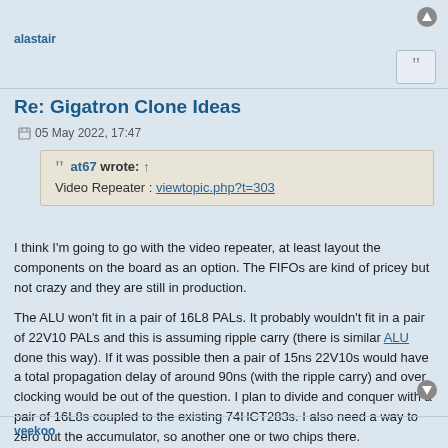alastair
Re: Gigatron Clone Ideas
05 May 2022, 17:47
at67 wrote: ↑
Video Repeater : viewtopic.php?t=303
I think I'm going to go with the video repeater, at least layout the components on the board as an option. The FIFOs are kind of pricey but not crazy and they are still in production.
The ALU won't fit in a pair of 16L8 PALs. It probably wouldn't fit in a pair of 22V10 PALs and this is assuming ripple carry (there is similar ALU done this way). If it was possible then a pair of 15ns 22V10s would have a total propagation delay of around 90ns (with the ripple carry) and over clocking would be out of the question. I plan to divide and conquer with a pair of 16L8s coupled to the existing 74HCT283s. I also need a way to zero out the accumulator, so another one or two chips there.
veekoo